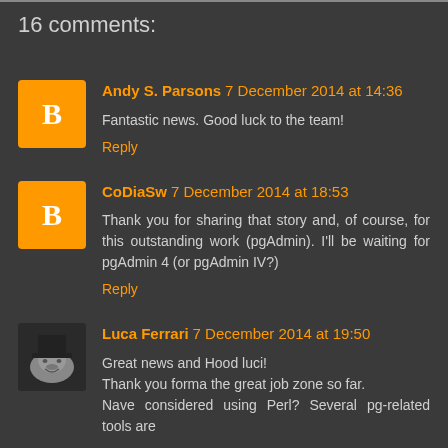16 comments:
Andy S. Parsons 7 December 2014 at 14:36
Fantastic news. Good luck to the team!
Reply
CoDiaSw 7 December 2014 at 18:53
Thank you for sharing that story and, of course, for this outstanding work (pgAdmin). I'll be waiting for pgAdmin 4 (or pgAdmin IV?)
Reply
Luca Ferrari 7 December 2014 at 19:50
Great news and Hood luci!
Thank you forma the great job zone so far.
Nave considered using Perl? Several pg-related tools are